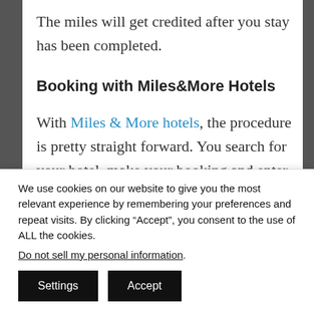The miles will get credited after you stay has been completed.
Booking with Miles&More Hotels
With Miles & More hotels, the procedure is pretty straight forward. You search for your hotel, make your booking and enter your Miles&Moree number,
We use cookies on our website to give you the most relevant experience by remembering your preferences and repeat visits. By clicking “Accept”, you consent to the use of ALL the cookies. Do not sell my personal information.
Settings  Accept